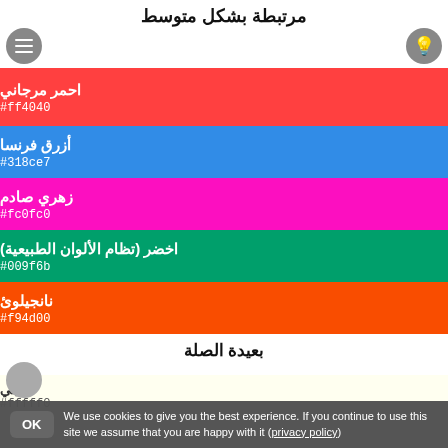مرتبطة بشكل متوسط
[Figure (infographic): Five color swatches stacked vertically: red (#ff4040 - احمر مرجاني), blue (#318ce7 - أزرق فرنسا), pink (#fc0fc0 - زهري صادم), green (#009f6b - اخضر (تظام الألوان الطبيعية)), orange (#f94d00 - نانجيلوئ)]
بعيدة الصلة
عاجي
#fffff0
We use cookies to give you the best experience. If you continue to use this site we assume that you are happy with it (privacy policy)